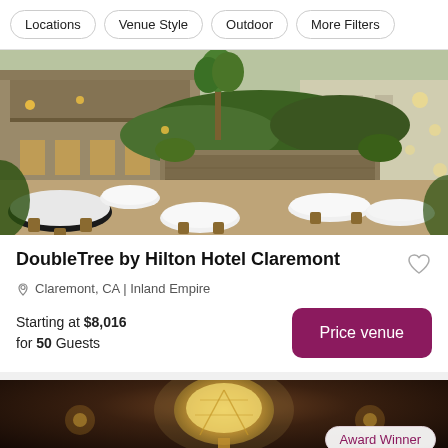Locations | Venue Style | Outdoor | More Filters
[Figure (photo): Outdoor courtyard dining area of DoubleTree by Hilton Hotel Claremont, showing round tables with white tablecloths, chiavari chairs, lush greenery, stone wall, palm trees, and warm lighting in the evening]
DoubleTree by Hilton Hotel Claremont
Claremont, CA | Inland Empire
Starting at $8,016 for 50 Guests
[Figure (photo): Interior ceiling of a second venue showing ornate chandelier lighting, dark warm tones, with an Award Winner badge overlay]